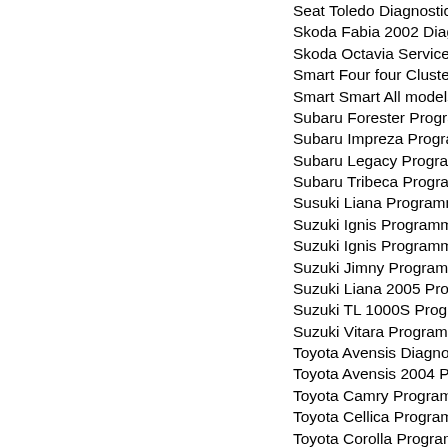Seat Toledo Diagnostic
Skoda Fabia 2002 Diagnostic
Skoda Octavia Service inspection
Smart Four four Cluster & BSI Pr
Smart Smart All models Tacho & B
Subaru Forester Programming via
Subaru Impreza Programming via
Subaru Legacy Programming via
Subaru Tribeca Programming via
Susuki Liana Programming Via Ch
Suzuki Ignis Programming Via Ch
Suzuki Ignis Programming Via Ch
Suzuki Jimny Programming via Ch
Suzuki Liana 2005 Program via ch
Suzuki TL 1000S Programming vi
Suzuki Vitara Programming via Ch
Toyota Avensis Diagnosis
Toyota Avensis 2004 Programmin
Toyota Camry Programming via C
Toyota Cellica Programming via C
Toyota Corolla Programming via C
Toyota Corrolla VDO Programmin
Toyota Hi Ace Programming via C
Toyota HJ 100 Programming Via C
Toyota IGNIS Programming Via C